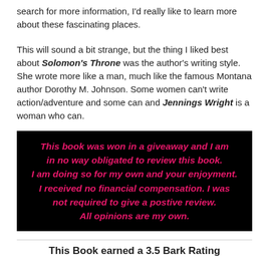search for more information, I'd really like to learn more about these fascinating places.
This will sound a bit strange, but the thing I liked best about Solomon's Throne was the author's writing style. She wrote more like a man, much like the famous Montana author Dorothy M. Johnson. Some women can't write action/adventure and some can and Jennings Wright is a woman who can.
This book was won in a giveaway and I am in no way obligated to review this book. I am doing so for my own and your enjoyment. I received no financial compensation. I was not required to give a postive review. All opinions are my own.
This Book earned a 3.5 Bark Rating
[Figure (illustration): A small illustration of a husky/dog sitting, partially visible at the bottom of the page.]